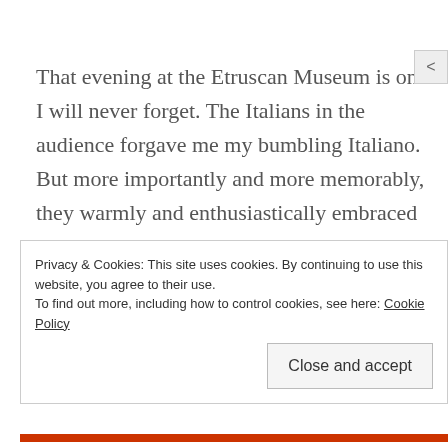That evening at the Etruscan Museum is one I will never forget. The Italians in the audience forgave me my bumbling Italiano. But more importantly and more memorably, they warmly and enthusiastically embraced Larry's book. Larry wrote the book to honor the ways in which the people of Tuscany have enriched his life; what they have contributed to his life is a gift, he
Privacy & Cookies: This site uses cookies. By continuing to use this website, you agree to their use.
To find out more, including how to control cookies, see here: Cookie Policy
Close and accept